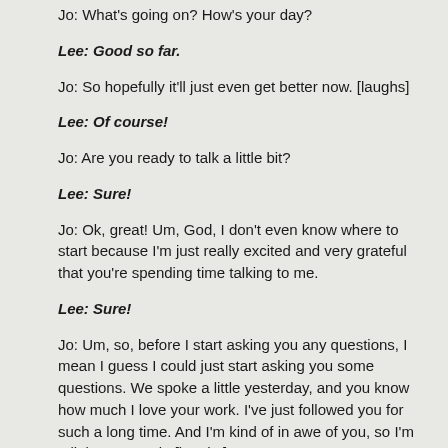Jo: What's going on? How's your day?
Lee: Good so far.
Jo: So hopefully it'll just even get better now. [laughs]
Lee: Of course!
Jo: Are you ready to talk a little bit?
Lee: Sure!
Jo: Ok, great! Um, God, I don't even know where to start because I'm just really excited and very grateful that you're spending time talking to me.
Lee: Sure!
Jo: Um, so, before I start asking you any questions, I mean I guess I could just start asking you some questions. We spoke a little yesterday, and you know how much I love your work. I've just followed you for such a long time. And I'm kind of in awe of you, so I'm a little starstruck. [laughs]